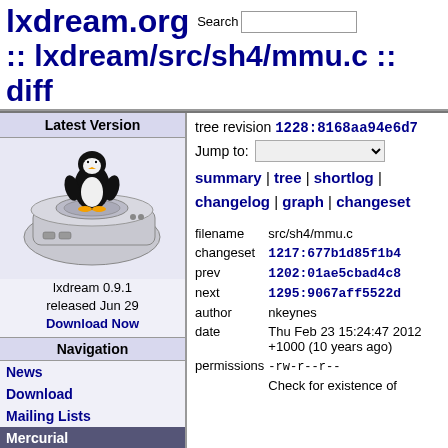lxdream.org :: lxdream/src/sh4/mmu.c :: diff
tree revision 1228:8168aa94e6d7
Jump to:
summary | tree | shortlog | changelog | graph | changeset
Latest Version
[Figure (illustration): Dreamcast console with Tux penguin logo for lxdream 0.9.1]
lxdream 0.9.1 released Jun 29 Download Now
Navigation
News
Download
Mailing Lists
Mercurial
Issues
Dreamcast Wiki
| field | value |
| --- | --- |
| filename | src/sh4/mmu.c |
| changeset | 1217:677b1d85f1b4 |
| prev | 1202:01ae5cbad4c8 |
| next | 1295:9067aff5522d |
| author | nkeynes |
| date | Thu Feb 23 15:24:47 2012 +1000 (10 years ago) |
| permissions | -rw-r--r-- |
| description | Check for existence of ... |